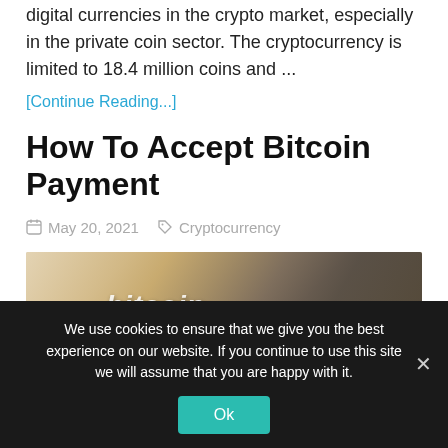Monero (XMR) is considered one of the leading digital currencies in the crypto market, especially in the private coin sector. The cryptocurrency is limited to 18.4 million coins and ...
[Continue Reading...]
How To Accept Bitcoin Payment
May 20, 2021   Cryptocurrency
[Figure (photo): Photo of a card payment terminal with a 'bitcoin ACCEPTED HERE' sticker and a gold Bitcoin coin in front of it, on a wooden surface.]
We use cookies to ensure that we give you the best experience on our website. If you continue to use this site we will assume that you are happy with it.